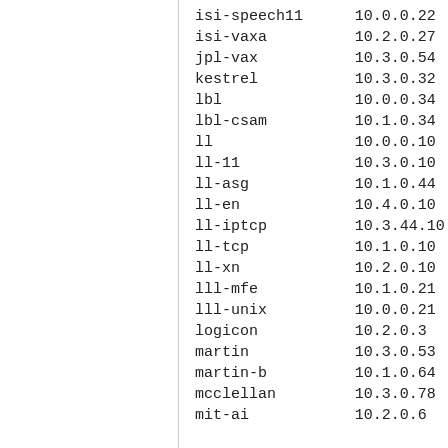| hostname | address |
| --- | --- |
| isi-speech11 | 10.0.0.22 |
| isi-vaxa | 10.2.0.27 |
| jpl-vax | 10.3.0.54 |
| kestrel | 10.3.0.32 |
| lbl | 10.0.0.34 |
| lbl-csam | 10.1.0.34 |
| ll | 10.0.0.10 |
| ll-11 | 10.3.0.10 |
| ll-asg | 10.1.0.44 |
| ll-en | 10.4.0.10 |
| ll-iptcp | 10.3.44.10 |
| ll-tcp | 10.1.0.10 |
| ll-xn | 10.2.0.10 |
| lll-mfe | 10.1.0.21 |
| lll-unix | 10.0.0.21 |
| logicon | 10.2.0.3 |
| martin | 10.3.0.53 |
| martin-b | 10.1.0.64 |
| mcclellan | 10.3.0.78 |
| mit-ai | 10.2.0.6 |